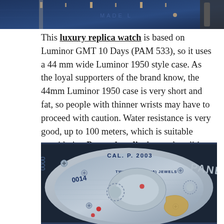[Figure (photo): Close-up of a blue dial Panerai watch face, partially cropped at the top of the page]
This luxury replica watch is based on Luminor GMT 10 Days (PAM 533), so it uses a 44 mm wide Luminor 1950 style case. As the loyal supporters of the brand know, the 44mm Luminor 1950 case is very short and fat, so people with thinner wrists may have to proceed with caution. Water resistance is very good, up to 100 meters, which is suitable considering Panerai replica's naval tradition. As it is a Luminor, the watch is equipped with Panerai's iconic crown protection device.
[Figure (photo): Close-up macro photo of the Panerai watch movement/caseback showing CAL. P. 2003 movement, TWENTY-FIVE (25) JEWELS inscription, serial number 0014, with silver mechanical components visible]